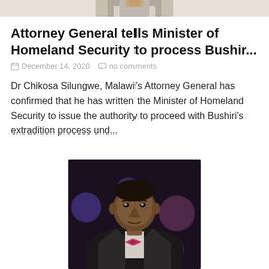[Figure (photo): Partial photo at top of page showing a person in a light-colored shirt, cropped to show only the lower face/shirt area]
Attorney General tells Minister of Homeland Security to process Bushir...
December 14, 2020   no comments
Dr Chikosa Silungwe, Malawi's Attorney General has confirmed that he has written the Minister of Homeland Security to issue the authority to proceed with Bushiri's extradition process und...
[Figure (photo): Photo of a man (Bushiri) in a suit with a bow tie, looking slightly to the side, with a blurred colorful background]